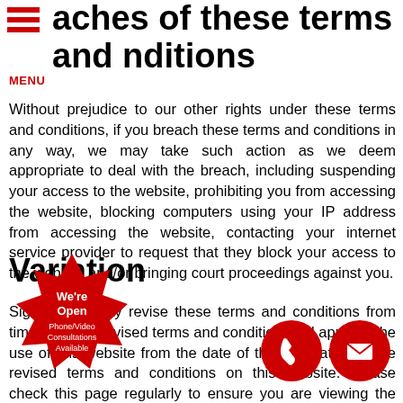...aches of these terms and conditions
Without prejudice to our other rights under these terms and conditions, if you breach these terms and conditions in any way, we may take such action as we deem appropriate to deal with the breach, including suspending your access to the website, prohibiting you from accessing the website, blocking computers using your IP address from accessing the website, contacting your internet service provider to request that they block your access to the website and/or bringing court proceedings against you.
Variation
Signmakers may revise these terms and conditions from time to time. Revised terms and conditions will apply to the use of this website from the date of the publication of the revised terms and conditions on this website. Please check this page regularly to ensure you are viewing the current version.
[Figure (illustration): Red star-shaped badge with text 'We're Open Phone/Video Consultations Available']
[Figure (illustration): Red circle with phone icon]
[Figure (illustration): Red circle with email/envelope icon]